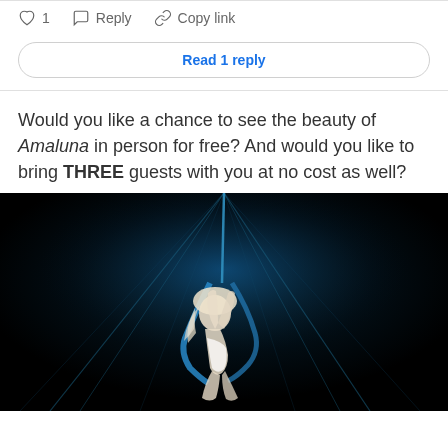♡ 1   Reply   Copy link
Read 1 reply
Would you like a chance to see the beauty of Amaluna in person for free? And would you like to bring THREE guests with you at no cost as well?
[Figure (photo): Aerial acrobat performer hanging from blue silk fabric against a dark background with blue light streaks, wearing white costume, long curly hair flowing down.]